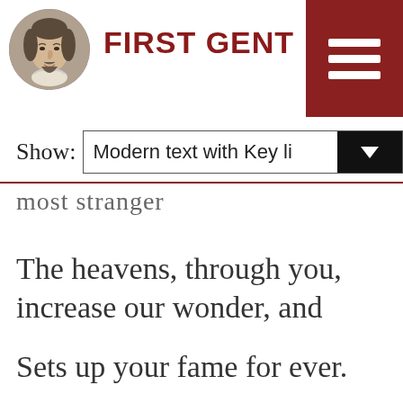FIRST GENTLEMAN
Show: Modern text with Key li
most stranger
The heavens, through you, increase our wonder, and
Sets up your fame for ever.